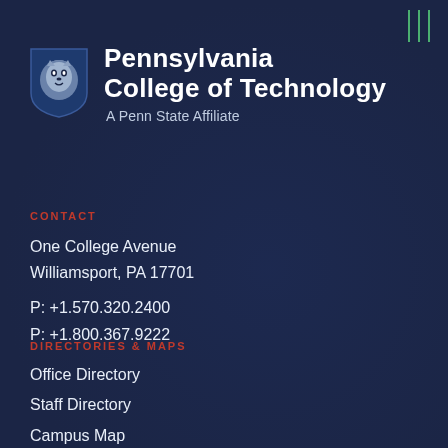[Figure (logo): Pennsylvania College of Technology logo with Penn State Nittany Lion shield and institution name]
Pennsylvania College of Technology
A Penn State Affiliate
CONTACT
One College Avenue
Williamsport, PA 17701
P: +1.570.320.2400
P: +1.800.367.9222
DIRECTORIES & MAPS
Office Directory
Staff Directory
Campus Map